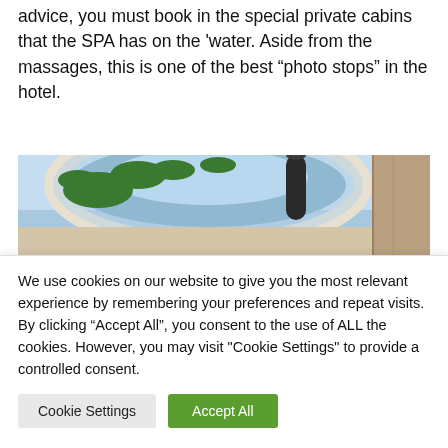advice, you must book in the special private cabins that the SPA has on the ‘water. Aside from the massages, this is one of the best “photo stops” in the hotel.
[Figure (photo): Photo of a round spa tub or hot tub viewed from above, showing blue sky and tropical palm trees reflected or visible in the water, with a dark cylindrical object (faucet/jet) visible, and beige/wooden surround.]
We use cookies on our website to give you the most relevant experience by remembering your preferences and repeat visits. By clicking “Accept All”, you consent to the use of ALL the cookies. However, you may visit "Cookie Settings" to provide a controlled consent.